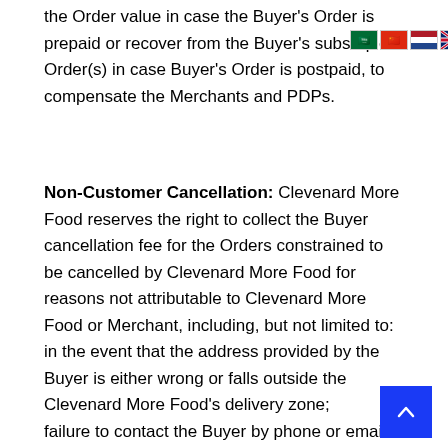the Order value in case the Buyer's Order is prepaid or recover from the Buyer's subsequent Order(s) in case Buyer's Order is postpaid, to compensate the Merchants and PDPs.
[Figure (illustration): A row of national flag emoji icons (Saudi Arabia, China, Netherlands, UK, France, Germany, Italy, Portugal, Russia, Spain) displayed as a horizontal bar near the top right of the page]
Non-Customer Cancellation: Clevenard More Food reserves the right to collect the Buyer cancellation fee for the Orders constrained to be cancelled by Clevenard More Food for reasons not attributable to Clevenard More Food or Merchant, including, but not limited to:
in the event that the address provided by the Buyer is either wrong or falls outside the Clevenard More Food's delivery zone;
failure to contact the Buyer by phone or email at the time of delivering the Order;
failure to deliver the Buyer's Order due to lack of information, direction or authorization from the Buy